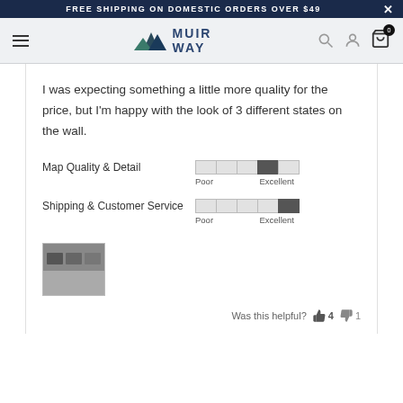FREE SHIPPING ON DOMESTIC ORDERS OVER $49
[Figure (logo): Muir Way logo with mountain icon and brand name]
I was expecting something a little more quality for the price, but I'm happy with the look of 3 different states on the wall.
Map Quality & Detail — rating bar: Poor to Excellent, filled near Excellent
Shipping & Customer Service — rating bar: Poor to Excellent, filled at Excellent
[Figure (photo): Small thumbnail photo showing 3 framed maps on a wall]
Was this helpful?  4  1